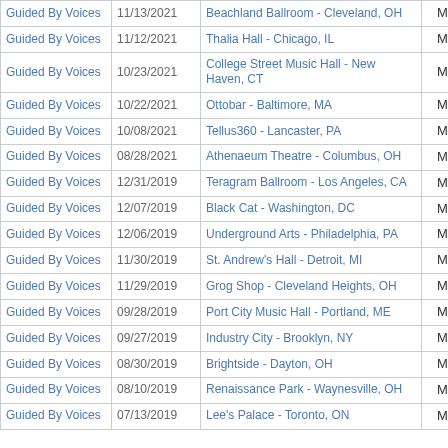| Artist | Date | Venue | Type |  |  |
| --- | --- | --- | --- | --- | --- |
| Guided By Voices | 11/13/2021 | Beachland Ballroom - Cleveland, OH | Main |  |  |
| Guided By Voices | 11/12/2021 | Thalia Hall - Chicago, IL | Main |  |  |
| Guided By Voices | 10/23/2021 | College Street Music Hall - New Haven, CT | Main |  |  |
| Guided By Voices | 10/22/2021 | Ottobar - Baltimore, MA | Main |  |  |
| Guided By Voices | 10/08/2021 | Tellus360 - Lancaster, PA | Main |  |  |
| Guided By Voices | 08/28/2021 | Athenaeum Theatre - Columbus, OH | Main |  |  |
| Guided By Voices | 12/31/2019 | Teragram Ballroom - Los Angeles, CA | Main |  |  |
| Guided By Voices | 12/07/2019 | Black Cat - Washington, DC | Main |  |  |
| Guided By Voices | 12/06/2019 | Underground Arts - Philadelphia, PA | Main |  |  |
| Guided By Voices | 11/30/2019 | St. Andrew's Hall - Detroit, MI | Main |  |  |
| Guided By Voices | 11/29/2019 | Grog Shop - Cleveland Heights, OH | Main |  |  |
| Guided By Voices | 09/28/2019 | Port City Music Hall - Portland, ME | Main |  |  |
| Guided By Voices | 09/27/2019 | Industry City - Brooklyn, NY | Main |  |  |
| Guided By Voices | 08/30/2019 | Brightside - Dayton, OH | Main |  |  |
| Guided By Voices | 08/10/2019 | Renaissance Park - Waynesville, OH | Main |  |  |
| Guided By Voices | 07/13/2019 | Lee's Palace - Toronto, ON | Main |  |  |